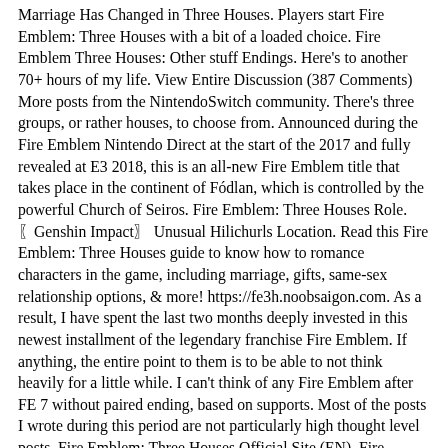Marriage Has Changed in Three Houses. Players start Fire Emblem: Three Houses with a bit of a loaded choice. Fire Emblem Three Houses: Other stuff Endings. Here's to another 70+ hours of my life. View Entire Discussion (387 Comments) More posts from the NintendoSwitch community. There's three groups, or rather houses, to choose from. Announced during the Fire Emblem Nintendo Direct at the start of the 2017 and fully revealed at E3 2018, this is an all-new Fire Emblem title that takes place in the continent of Fódlan, which is controlled by the powerful Church of Seiros. Fire Emblem: Three Houses Role. 〖Genshin Impact〗 Unusual Hilichurls Location. Read this Fire Emblem: Three Houses guide to know how to romance characters in the game, including marriage, gifts, same-sex relationship options, & more! https://fe3h.noobsaigon.com. As a result, I have spent the last two months deeply invested in this newest installment of the legendary franchise Fire Emblem. If anything, the entire point to them is to be able to not think heavily for a little while. I can't think of any Fire Emblem after FE 7 without paired ending, based on supports. Most of the posts I wrote during this period are not particularly high thought level posts. Fire Emblem: Three Houses Official Site (EN), Fire Emblem: Three Houses Official Site (JP). Read on to learn how a character's death affects the story, as well as how permadeath is different between Casual and Classic modes. Fire Emblem: Three Houses romance options are deep, but they're also the kind of gameplay element that many fans will regret not having done research on prior to making their choice. For Fire Emblem: